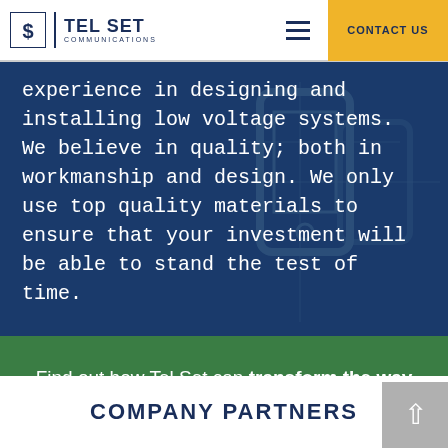TEL SET COMMUNICATIONS | CONTACT US
experience in designing and installing low voltage systems. We believe in quality; both in workmanship and design. We only use top quality materials to ensure that your investment will be able to stand the test of time.
Find out how Tel Set can transform the way you communicate.
COMPANY PARTNERS